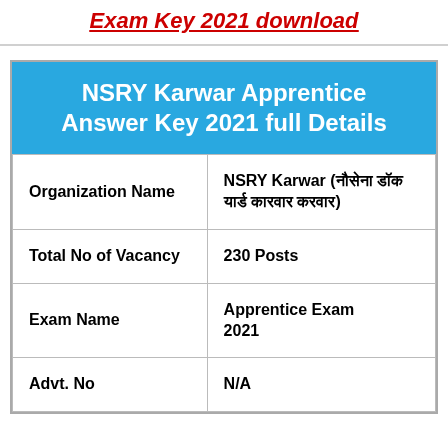Exam Key 2021 download
| NSRY Karwar Apprentice Answer Key 2021 full Details |  |
| --- | --- |
| Organization Name | NSRY Karwar (नौसेना डॉकयार्ड करवार) |
| Total No of Vacancy | 230 Posts |
| Exam Name | Apprentice Exam 2021 |
| Advt. No | N/A |